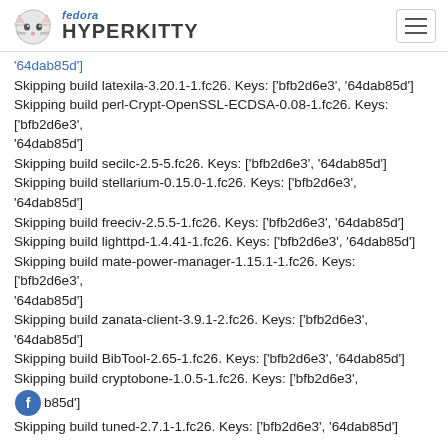fedora HYPERKITTY
'64dab85d']
Skipping build latexila-3.20.1-1.fc26. Keys: ['bfb2d6e3', '64dab85d']
Skipping build perl-Crypt-OpenSSL-ECDSA-0.08-1.fc26. Keys: ['bfb2d6e3', '64dab85d']
Skipping build secilc-2.5-5.fc26. Keys: ['bfb2d6e3', '64dab85d']
Skipping build stellarium-0.15.0-1.fc26. Keys: ['bfb2d6e3', '64dab85d']
Skipping build freeciv-2.5.5-1.fc26. Keys: ['bfb2d6e3', '64dab85d']
Skipping build lighttpd-1.4.41-1.fc26. Keys: ['bfb2d6e3', '64dab85d']
Skipping build mate-power-manager-1.15.1-1.fc26. Keys: ['bfb2d6e3', '64dab85d']
Skipping build zanata-client-3.9.1-2.fc26. Keys: ['bfb2d6e3', '64dab85d']
Skipping build BibTool-2.65-1.fc26. Keys: ['bfb2d6e3', '64dab85d']
Skipping build cryptobone-1.0.5-1.fc26. Keys: ['bfb2d6e3', '64dab85d']
Skipping build tuned-2.7.1-1.fc26. Keys: ['bfb2d6e3', '64dab85d']